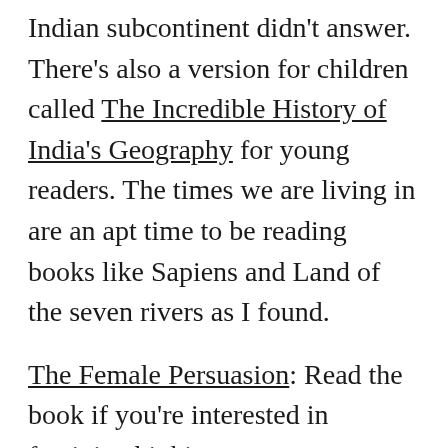Indian subcontinent didn't answer. There's also a version for children called The Incredible History of India's Geography for young readers. The times we are living in are an apt time to be reading books like Sapiens and Land of the seven rivers as I found.
The Female Persuasion: Read the book if you're interested in feminist thinking across generations.
A few other notable mentions: Men Without Women, What We Talk About When We Talk About Love, Sweet Shop and Transit by Rachel